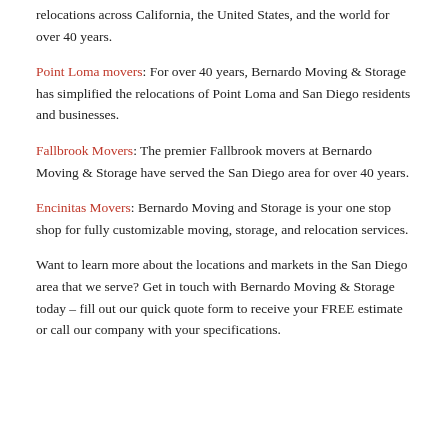relocations across California, the United States, and the world for over 40 years.
Point Loma movers: For over 40 years, Bernardo Moving & Storage has simplified the relocations of Point Loma and San Diego residents and businesses.
Fallbrook Movers: The premier Fallbrook movers at Bernardo Moving & Storage have served the San Diego area for over 40 years.
Encinitas Movers: Bernardo Moving and Storage is your one stop shop for fully customizable moving, storage, and relocation services.
Want to learn more about the locations and markets in the San Diego area that we serve? Get in touch with Bernardo Moving & Storage today – fill out our quick quote form to receive your FREE estimate or call our company with your specifications.